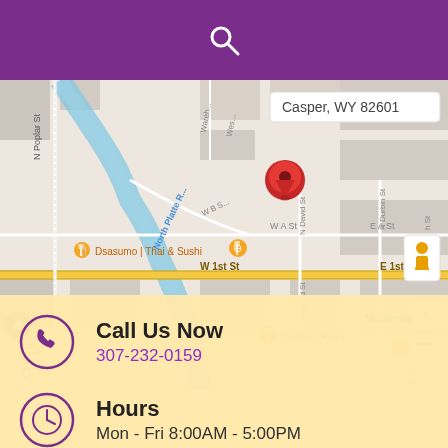Search icon (magnifying glass)
[Figure (map): Google Maps screenshot showing Casper, WY 82601 area with North Platte River, streets including W 1st St, E 1st St, N Poplar St, W A St, E A St, W B St, N David St, S David St, N Durbin St, Warehouse area. Landmarks: United States Postal Service, Wyoming Rescue Mission WR, Dsasumo Thai & Sushi, Sherrie's Place, Nicolaysen Art. Red location pin dropped near center. Map controls visible (zoom +/-, Street View pegman).]
Call Us Now
307-232-0159
Hours
Mon - Fri 8:00AM - 5:00PM